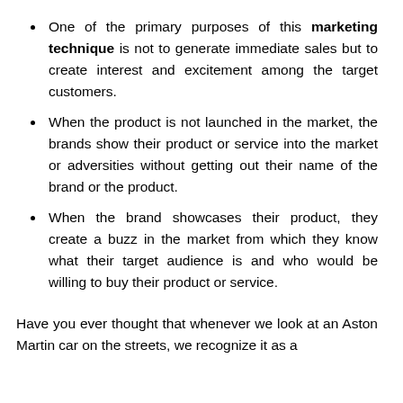One of the primary purposes of this marketing technique is not to generate immediate sales but to create interest and excitement among the target customers.
When the product is not launched in the market, the brands show their product or service into the market or adversities without getting out their name of the brand or the product.
When the brand showcases their product, they create a buzz in the market from which they know what their target audience is and who would be willing to buy their product or service.
Have you ever thought that whenever we look at an Aston Martin car on the streets, we recognize it as a